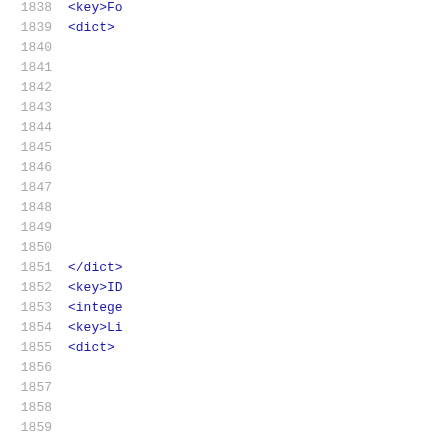1838  <key>Fo
1839  <dict>
1840
1841
1842
1843
1844
1845
1846
1847
1848
1849
1850
1851  </dict>
1852  <key>ID
1853  <intege
1854  <key>Li
1855  <dict>
1856
1857
1858
1859